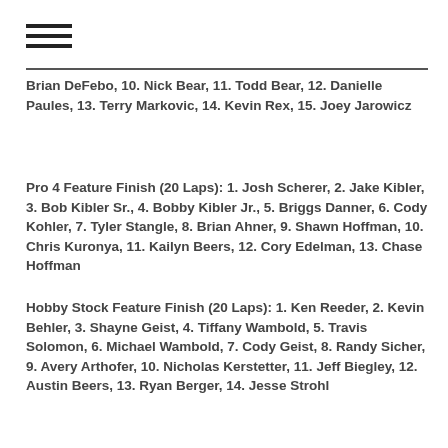Brian DeFebo, 10. Nick Bear, 11. Todd Bear, 12. Danielle Paules, 13. Terry Markovic, 14. Kevin Rex, 15. Joey Jarowicz
Pro 4 Feature Finish (20 Laps): 1. Josh Scherer, 2. Jake Kibler, 3. Bob Kibler Sr., 4. Bobby Kibler Jr., 5. Briggs Danner, 6. Cody Kohler, 7. Tyler Stangle, 8. Brian Ahner, 9. Shawn Hoffman, 10. Chris Kuronya, 11. Kailyn Beers, 12. Cory Edelman, 13. Chase Hoffman
Hobby Stock Feature Finish (20 Laps): 1. Ken Reeder, 2. Kevin Behler, 3. Shayne Geist, 4. Tiffany Wambold, 5. Travis Solomon, 6. Michael Wambold, 7. Cody Geist, 8. Randy Sicher, 9. Avery Arthofer, 10. Nicholas Kerstetter, 11. Jeff Biegley, 12. Austin Beers, 13. Ryan Berger, 14. Jesse Strohl